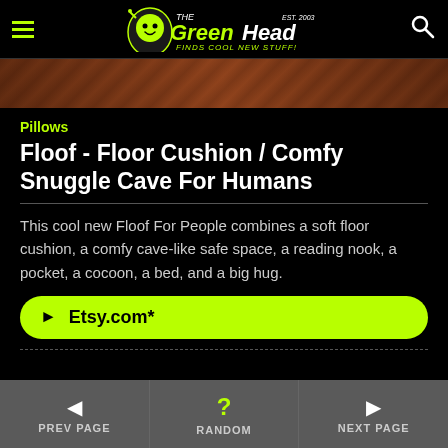The Green Head - Finds Cool New Stuff!
[Figure (photo): Partial product photo showing edge of the Floof floor cushion with brown/rust fabric]
Pillows
Floof - Floor Cushion / Comfy Snuggle Cave For Humans
This cool new Floof For People combines a soft floor cushion, a comfy cave-like safe space, a reading nook, a pocket, a cocoon, a bed, and a big hug.
► Etsy.com*
◄ PREV PAGE   ? RANDOM   ► NEXT PAGE